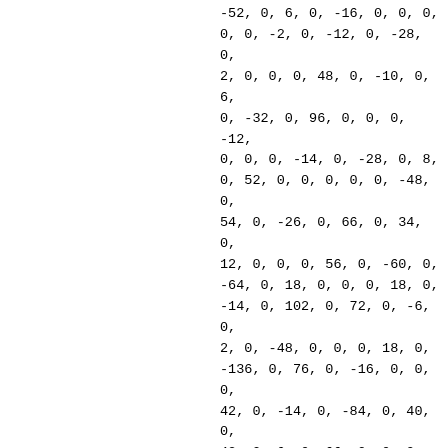-52, 0, 6, 0, -16, 0, 0, 0, 0, 0, -2, 0, -12, 0, -28, 0, 2, 0, 0, 0, 48, 0, -10, 0, 6, 0, -32, 0, 96, 0, 0, 0, -12, 0, 0, 0, -14, 0, -28, 0, 8, 0, 52, 0, 0, 0, 0, 0, -48, 0, 54, 0, -26, 0, 66, 0, 34, 0, 12, 0, 0, 0, 56, 0, -60, 0, -64, 0, 18, 0, 0, 0, 18, 0, -14, 0, 102, 0, 72, 0, -6, 0, 2, 0, -48, 0, 0, 0, 18, 0, -136, 0, 76, 0, -16, 0, 0, 0, 42, 0, -14, 0, -84, 0, 40, 0, 42, 0, 6, 0, 66, 0, 0, 0, 16, 0, 28, 0, 4, 0, 0, 0, 0, 0, 12, 0, -62, 0, 6, 0, -22, 0, -6, 0, -8, 0, -96, 0, 0, 0, 56, 0, -24, 0, -112, 0, -12, 0, 0, 0, 114, 0, -62, 0, 114, 0, 56, 0, 42, 0, 18, 0, -108,